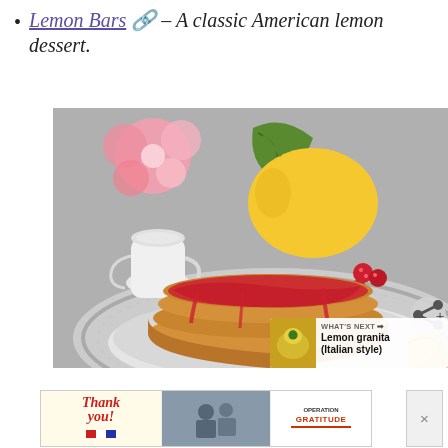Lemon Bars 🔗 – A classic American lemon dessert.
[Figure (photo): Stack of pancakes topped with raspberry/strawberry sauce on a plate, with a lemon, raspberries, pink flower, and white cream pitcher in the background. Overlaid with a heart icon button, a share icon button, and a 'What's Next' card showing 'Lemon granita (Italian style)'.]
[Figure (photo): Advertisement banner: 'Thank you' with American flag imagery and Operation Gratitude logo.]